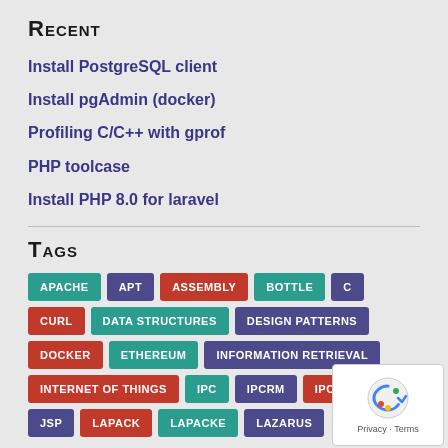Recent
Install PostgreSQL client
Install pgAdmin (docker)
Profiling C/C++ with gprof
PHP toolcase
Install PHP 8.0 for laravel
Tags
APACHE APT ASSEMBLY BOTTLE C CURL DATA STRUCTURES DESIGN PATTERNS DOCKER ETHEREUM INFORMATION RETRIEVAL INTERNET OF THINGS IPC IPCRM IPCS JAVA JSP LAPACK LAPACKE LAZARUS